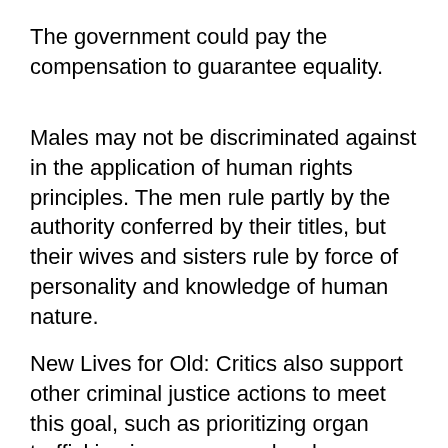The government could pay the compensation to guarantee equality.
Males may not be discriminated against in the application of human rights principles. The men rule partly by the authority conferred by their titles, but their wives and sisters rule by force of personality and knowledge of human nature.
New Lives for Old: Critics also support other criminal justice actions to meet this goal, such as prioritizing organ trafficking issues among local legislative bodies; multidisciplinary collaboration in cross-border offenses; and further police training in dealing with organ trafficking crimes.
It incorporates the study of documents, interviews, observations and literary reviews. But not with...